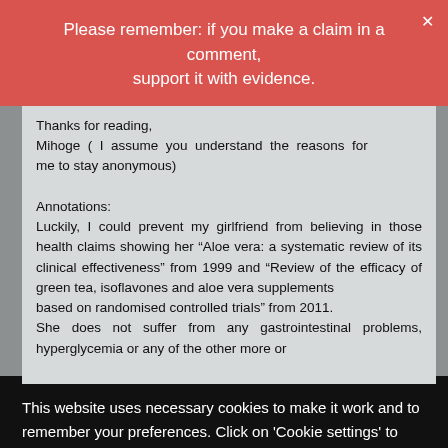Please remember: if you make a claim in a comment, support it with evidence.
Thanks for reading,
Mihoge ( I assume you understand the reasons for me to stay anonymous)

Annotations:
Luckily, I could prevent my girlfriend from believing in those health claims showing her “Aloe vera: a systematic review of its clinical effectiveness” from 1999 and “Review of the efficacy of green tea, isoflavones and aloe vera supplements
based on randomised controlled trials” from 2011.
She does not suffer from any gastrointestinal problems, hyperglycemia or any of the other more or
This website uses necessary cookies to make it work and to remember your preferences. Click on 'Cookie settings' to control your consent for other cookies or click on 'Accept all' to consent to the use of all cookies. By continuing to browse this website you are agreeing to our Privacy policy.
Accept all
Cookie settings
Privacy policy